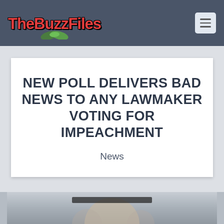TheBuzzFiles
NEW POLL DELIVERS BAD NEWS TO ANY LAWMAKER VOTING FOR IMPEACHMENT
News
[Figure (photo): Photograph at the bottom of the article page, partially visible, appears to show a person]